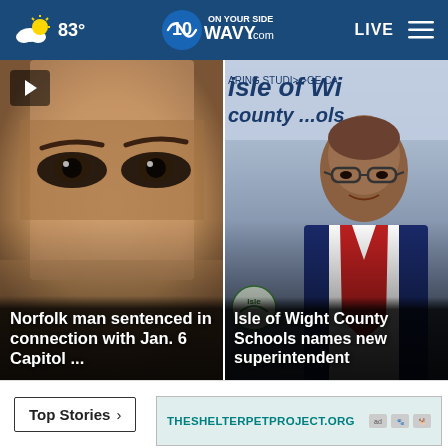83° WAVY.com ON YOUR SIDE 10 LIVE
[Figure (screenshot): Close-up photo of a man's face, eyes visible, dark hair — news story thumbnail]
Norfolk man sentenced in connection with Jan. 6 Capitol ...
[Figure (screenshot): Man in blue suit with red tie in front of Isle of Wight County Schools banner — news story thumbnail]
Isle of Wight County Schools names new superintendent
Top Stories >
[Figure (screenshot): Advertisement banner: THESHELTERPETPROJECT.ORG with ad choice icons]